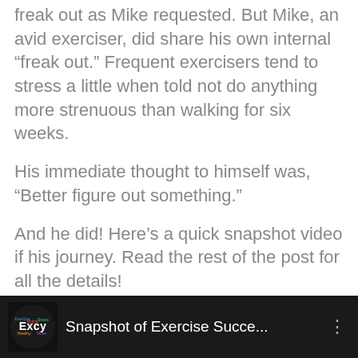freak out as Mike requested. But Mike, an avid exerciser, did share his own internal “freak out.” Frequent exercisers tend to stress a little when told not do anything more strenuous than walking for six weeks.
His immediate thought to himself was, “Better figure out something.”
And he did! Here’s a quick snapshot video if his journey. Read the rest of the post for all the details!
[Figure (screenshot): Video thumbnail with dark background showing Excy logo (colorful word cloud circular logo) and text 'Snapshot of Exercise Succe...' with a vertical dots menu icon on the right.]